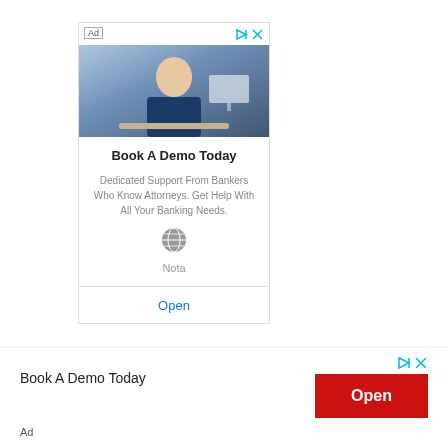[Figure (screenshot): Advertisement card showing a man in a dark blue shirt sitting at a desk, smiling at the camera. The ad card has a photo at top, headline 'Book A Demo Today', supporting text about dedicated banking support, a globe icon, 'Nota' text, and an 'Open' button at the bottom.]
Book A Demo Today
Open
Ad